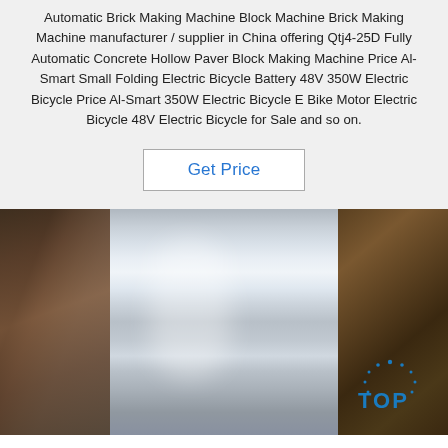Automatic Brick Making Machine Block Machine Brick Making Machine manufacturer / supplier in China offering Qtj4-25D Fully Automatic Concrete Hollow Paver Block Making Machine Price Al-Smart Small Folding Electric Bicycle Battery 48V 350W Electric Bicycle Price Al-Smart 350W Electric Bicycle E Bike Motor Electric Bicycle 48V Electric Bicycle for Sale and so on.
Get Price
[Figure (photo): A metallic sheet (likely aluminum or steel) placed inside brown cardboard packaging, with green and orange materials visible in the upper right corner. A blue 'TOP' watermark logo appears in the lower right.]